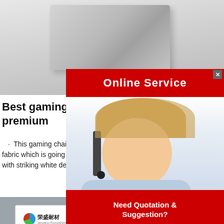[Figure (photo): Top portion of a gray foam block on white/gray background]
[Figure (infographic): Online Service button — red banner with white text and close X]
Best gaming chairs 2021 brilliant budget premium
This gaming chair also comes in a cheaper non-leather fabric which is going to appeal to those on a tighter budget with striking white design the
[Figure (photo): Customer service agent — blonde woman wearing headset, smiling]
[Figure (infographic): Need Quotation & Suggestion? Free Chat — red box with yellow button]
[Figure (photo): Gray powder pile with company label showing globe logo and Chinese text (荣盛耐材, 粘土结合浇注料)]